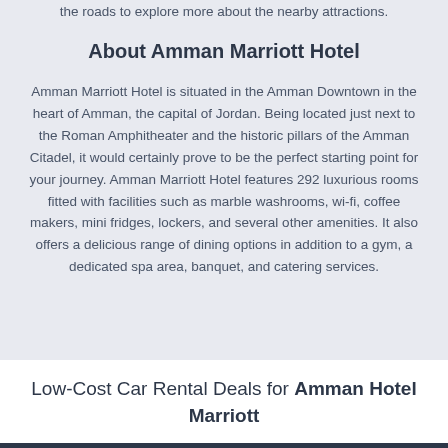the roads to explore more about the nearby attractions.
About Amman Marriott Hotel
Amman Marriott Hotel is situated in the Amman Downtown in the heart of Amman, the capital of Jordan. Being located just next to the Roman Amphitheater and the historic pillars of the Amman Citadel, it would certainly prove to be the perfect starting point for your journey. Amman Marriott Hotel features 292 luxurious rooms fitted with facilities such as marble washrooms, wi-fi, coffee makers, mini fridges, lockers, and several other amenities. It also offers a delicious range of dining options in addition to a gym, a dedicated spa area, banquet, and catering services.
Low-Cost Car Rental Deals for Amman Hotel Marriott